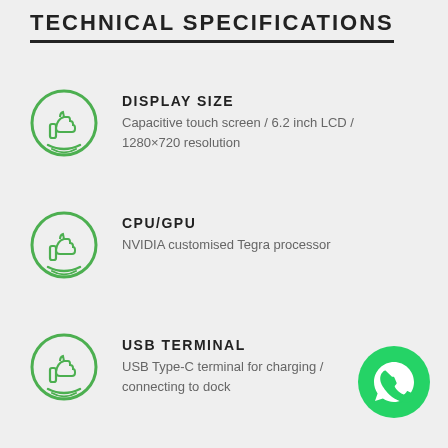TECHNICAL SPECIFICATIONS
DISPLAY SIZE
Capacitive touch screen / 6.2 inch LCD / 1280×720 resolution
CPU/GPU
NVIDIA customised Tegra processor
USB TERMINAL
USB Type-C terminal for charging / connecting to dock